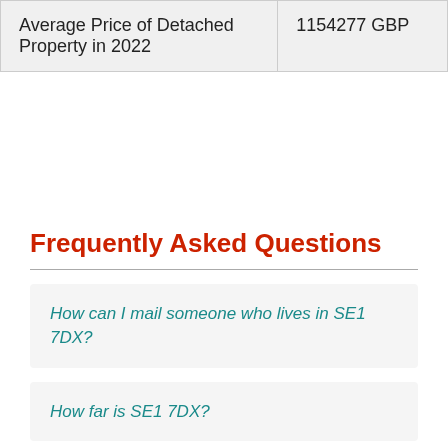| Average Price of Detached Property in 2022 | 1154277 GBP |
Frequently Asked Questions
How can I mail someone who lives in SE1 7DX?
How far is SE1 7DX?
How costly is a property in SE1 7DX?